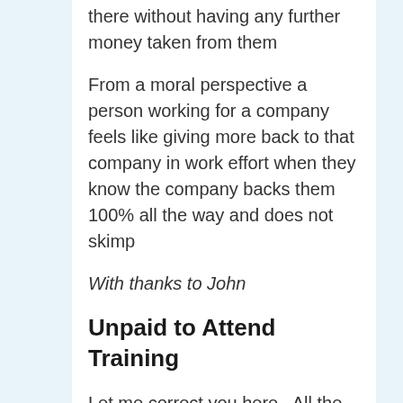there without having any further money taken from them
From a moral perspective a person working for a company feels like giving more back to that company in work effort when they know the company backs them 100% all the way and does not skimp
With thanks to John
Unpaid to Attend Training
Let me correct you here.  All the call centres which are there in India are all in metro cities.85-90% of these agents